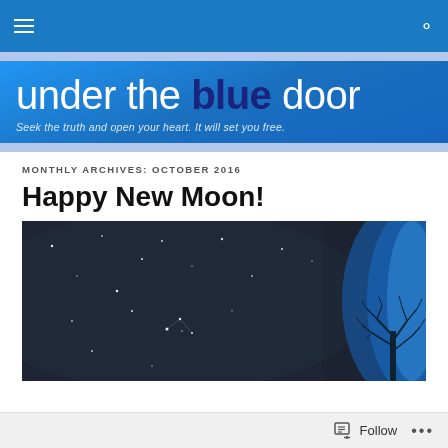Navigation bar with hamburger menu and search icon
[Figure (logo): under the blue door – blog site banner with tagline: Seek the truth and open your heart. It will set you free.]
MONTHLY ARCHIVES: OCTOBER 2016
Happy New Moon!
[Figure (illustration): Night sky artwork with stars on dark background and blue glowing tree silhouette on right side]
Follow ...